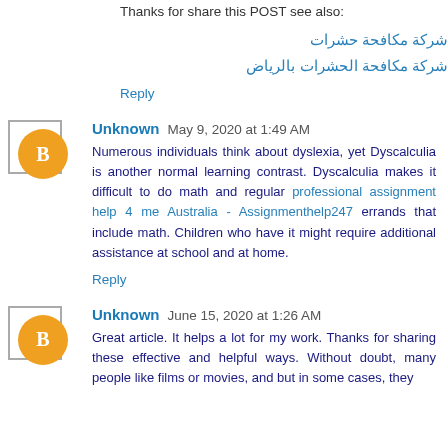Thanks for share this POST see also:
شركة مكافحة حشرات
شركة مكافحة الحشرات بالرياض
Reply
Unknown  May 9, 2020 at 1:49 AM
Numerous individuals think about dyslexia, yet Dyscalculia is another normal learning contrast. Dyscalculia makes it difficult to do math and regular professional assignment help 4 me Australia - Assignmenthelp247 errands that include math. Children who have it might require additional assistance at school and at home.
Reply
Unknown  June 15, 2020 at 1:26 AM
Great article. It helps a lot for my work. Thanks for sharing these effective and helpful ways. Without doubt, many people like films or movies, and but in some cases, they